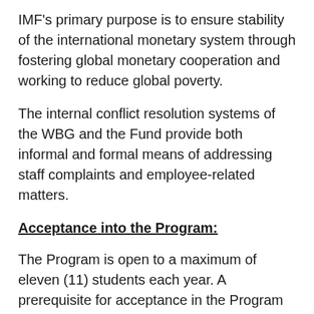IMF's primary purpose is to ensure stability of the international monetary system through fostering global monetary cooperation and working to reduce global poverty.
The internal conflict resolution systems of the WBG and the Fund provide both informal and formal means of addressing staff complaints and employee-related matters.
Acceptance into the Program:
The Program is open to a maximum of eleven (11) students each year. A prerequisite for acceptance in the Program is the ADR Survey Course; however, students who have not completed the ADR Survey Course by Spring may apply for the Program. Preference for acceptance will be given to students who have taken the ADR Survey course. In addition